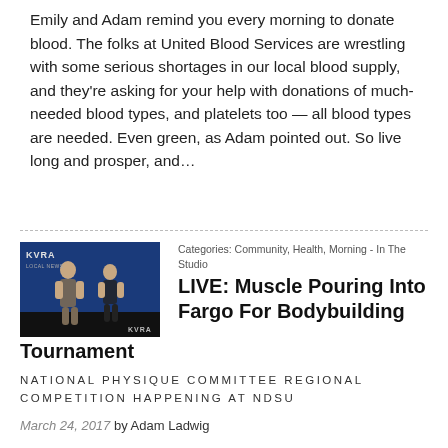Emily and Adam remind you every morning to donate blood. The folks at United Blood Services are wrestling with some serious shortages in our local blood supply, and they're asking for your help with donations of much-needed blood types, and platelets too — all blood types are needed. Even green, as Adam pointed out. So live long and prosper, and…
[Figure (photo): Two bodybuilders, a man and a woman, posing on a stage with a blue background and KVRA logo]
Categories: Community, Health, Morning - In The Studio
LIVE: Muscle Pouring Into Fargo For Bodybuilding Tournament
NATIONAL PHYSIQUE COMMITTEE REGIONAL COMPETITION HAPPENING AT NDSU
March 24, 2017 by Adam Ladwig
The...